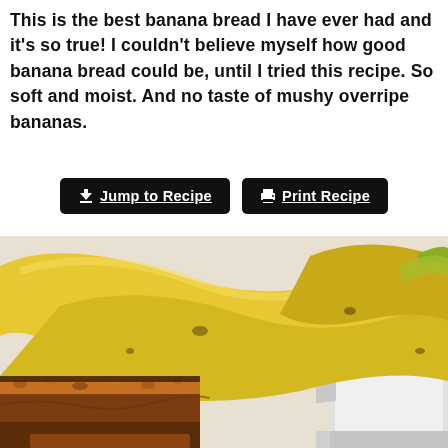This is the best banana bread I have ever had and it's so true! I couldn't believe myself how good banana bread could be, until I tried this recipe. So soft and moist. And no taste of mushy overripe bananas.
[Figure (other): Two buttons: 'Jump to Recipe' (with download arrow icon) and 'Print Recipe' (with printer icon), both dark/black background with white text and underline styling.]
[Figure (photo): Photo of a bunch of yellow bananas in a white box/tray, with slices of banana bread topped with caramelized nuts visible in the lower left corner.]